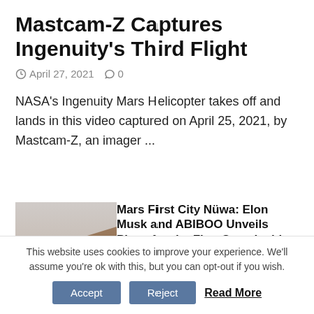Mastcam-Z Captures Ingenuity's Third Flight
April 27, 2021  0
NASA's Ingenuity Mars Helicopter takes off and lands in this video captured on April 25, 2021, by Mastcam-Z, an imager ...
[Figure (photo): Mars landscape thumbnail image with rocky terrain and hazy sky]
Mars First City Nüwa: Elon Musk and ABIBOO Unveils Plans for the First Sustainable City
March 22, 2021  0
This website uses cookies to improve your experience. We'll assume you're ok with this, but you can opt-out if you wish.